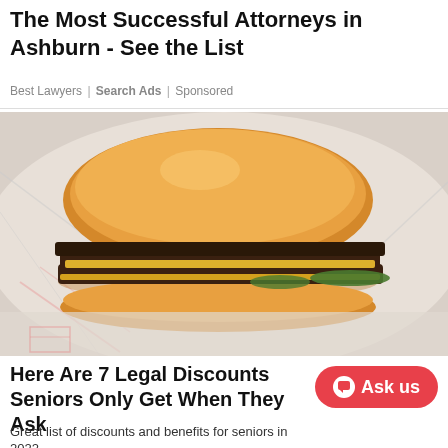The Most Successful Attorneys in Ashburn - See the List
Best Lawyers | Search Ads | Sponsored
[Figure (photo): A fast food hamburger with double beef patties, cheese, and pickles on a white bun, sitting on crinkled food-service paper wrapping.]
Here Are 7 Legal Discounts Seniors Only Get When They Ask
Great list of discounts and benefits for seniors in 2022.